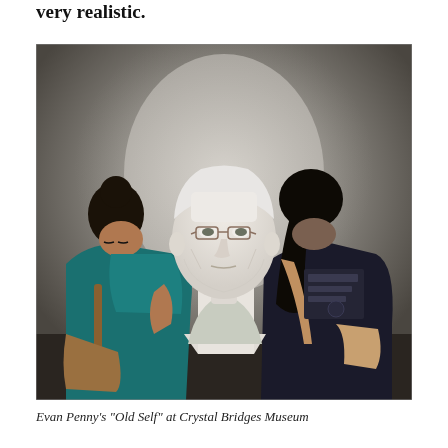very realistic.
[Figure (photo): Two women viewed from behind stand in an art museum gallery looking at a large, hyper-realistic sculptural bust of an elderly man with white hair and glasses mounted on a white pedestal. The woman on the left wears a teal top and carries a brown handbag; the woman on the right wears a dark t-shirt and carries a tan bag. The sculpture is Evan Penny's 'Old Self'.]
Evan Penny's "Old Self" at Crystal Bridges Museum